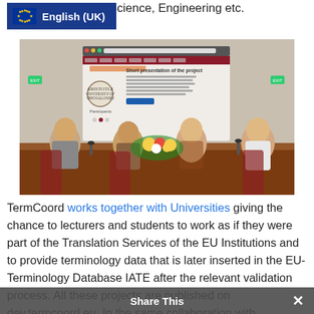Me... nputer Science, Engineering etc.
[Figure (photo): Four people seated at a conference table with a projected website screen behind them showing Aristotle University of Thessaloniki content. Flowers on the table. EU flag language badge showing English (UK) overlaid in upper left.]
TermCoord works together with Universities giving the chance to lecturers and students to work as if they were part of the Translation Services of the EU Institutions and to provide terminology data that is later inserted in the EU-Terminology Database IATE after the relevant validation process. All these projects are published on dev.termcoord.eu. In the same collaboration with
Share This ✕